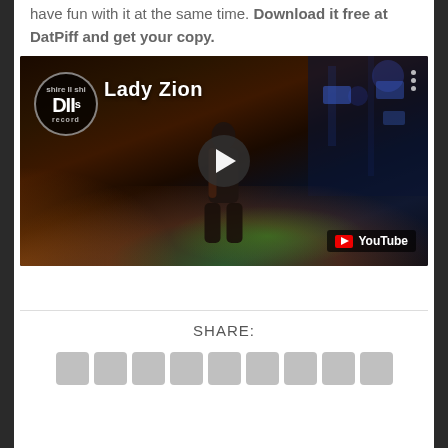have fun with it at the same time. Download it free at DatPiff and get your copy.
[Figure (screenshot): YouTube video thumbnail showing Lady Zion performing on a stage in a venue. The video has a play button overlay and shows the DII Records logo in the top left, the text 'Lady Zion' as the video title, and a YouTube badge in the bottom right corner.]
SHARE: